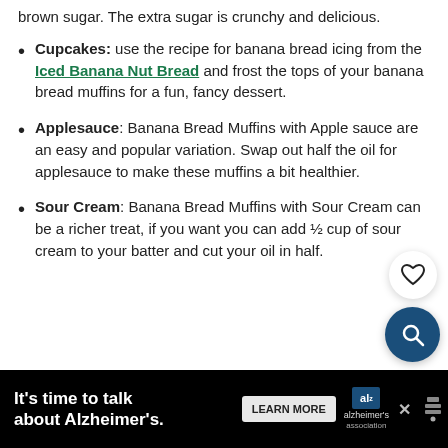brown sugar. The extra sugar is crunchy and delicious.
Cupcakes: use the recipe for banana bread icing from the Iced Banana Nut Bread and frost the tops of your banana bread muffins for a fun, fancy dessert.
Applesauce: Banana Bread Muffins with Apple sauce are an easy and popular variation. Swap out half the oil for applesauce to make these muffins a bit healthier.
Sour Cream: Banana Bread Muffins with Sour Cream can be a richer treat, if you want you can add ½ cup of sour cream to your batter and cut your oil in half.
[Figure (screenshot): UI overlay with heart/favorite button (white circle) and search button (dark blue circle with magnifying glass icon)]
It's time to talk about Alzheimer's. LEARN MORE — Alzheimer's Association advertisement banner